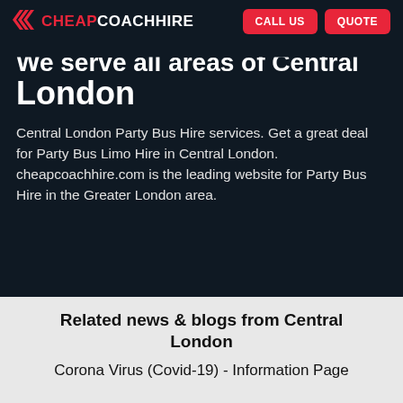CHEAPCOACHHIRE | CALL US | QUOTE
We serve all areas of Central London
Central London Party Bus Hire services. Get a great deal for Party Bus Limo Hire in Central London. cheapcoachhire.com is the leading website for Party Bus Hire in the Greater London area.
Related news & blogs from Central London
Corona Virus (Covid-19) - Information Page